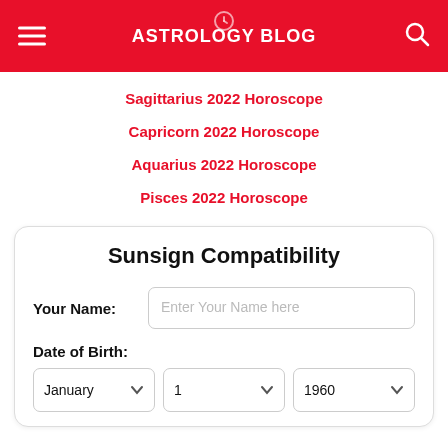ASTROLOGY BLOG
Sagittarius 2022 Horoscope
Capricorn 2022 Horoscope
Aquarius 2022 Horoscope
Pisces 2022 Horoscope
Sunsign Compatibility
Your Name: Enter Your Name here
Date of Birth: January 1 1960